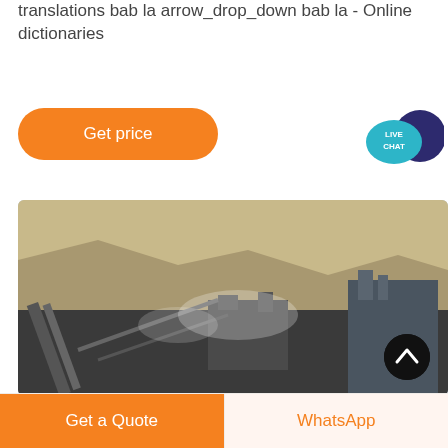translations bab la arrow_drop_down bab la - Online dictionaries
[Figure (other): Orange rounded 'Get price' button]
[Figure (other): Live Chat speech bubble icon with teal and dark navy circles]
[Figure (photo): Aerial view of a mining quarry with industrial conveyor belts, machinery, and rocky terrain with dust]
[Figure (other): Scroll-to-top button (dark circle with upward chevron)]
[Figure (other): Bottom action bar with orange 'Get a Quote' button and light 'WhatsApp' button]